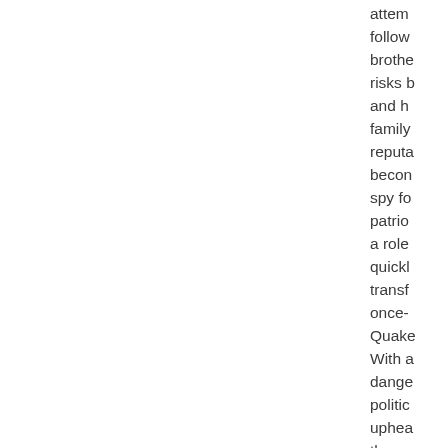attem follow brothe risks b and h family reputa becon spy fo patrio a role quickl transf once- Quak With a dange politic uphea throw them, and S incred dange